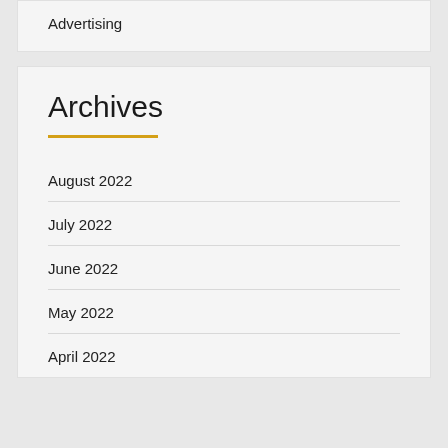Advertising
Archives
August 2022
July 2022
June 2022
May 2022
April 2022